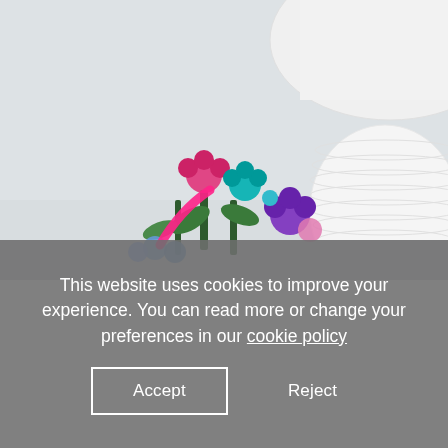[Figure (photo): A close-up photo on a white surface showing colorful felt/fabric artificial flowers (pink, blue, purple, green) next to a white ribbed round lamp shade. Light gray/white background walls visible.]
This website uses cookies to improve your experience. You can read more or change your preferences in our cookie policy
Accept
Reject